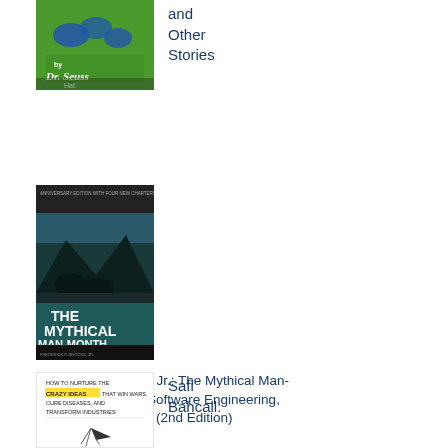[Figure (photo): Partial Dr. Seuss book cover, green background with birds and 'by Dr. Seuss' text visible]
and Other Stories
[Figure (photo): The Mythical Man-Month book cover, dark with teal lettering showing bears in wilderness scene]
Frederick P. Brooks Jr.: The Mythical Man-Month: Essays on Software Engineering, Anniversary Edition (2nd Edition)
[Figure (photo): Partial book cover: How to Nurture the Crazy Ideas that Win Wars, Cure Diseases, and Transform Industries, with a paper airplane illustration]
Safi Bahcall: